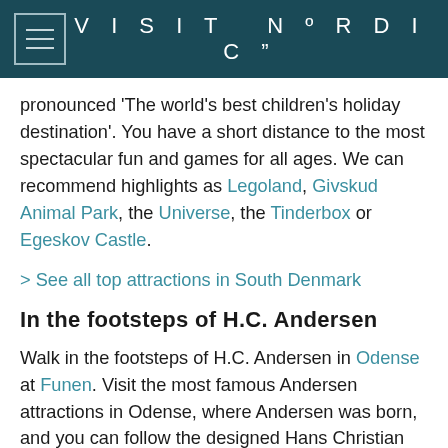VISIT NORDIC
pronounced 'The world's best children's holiday destination'. You have a short distance to the most spectacular fun and games for all ages. We can recommend highlights as Legoland, Givskud Animal Park, the Universe, the Tinderbox or Egeskov Castle.
> See all top attractions in South Denmark
In the footsteps of H.C. Andersen
Walk in the footsteps of H.C. Andersen in Odense at Funen. Visit the most famous Andersen attractions in Odense, where Andersen was born, and you can follow the designed Hans Christian Andersen route in Odense. We also recommend the H.C. Andersen Trail, where you will pass